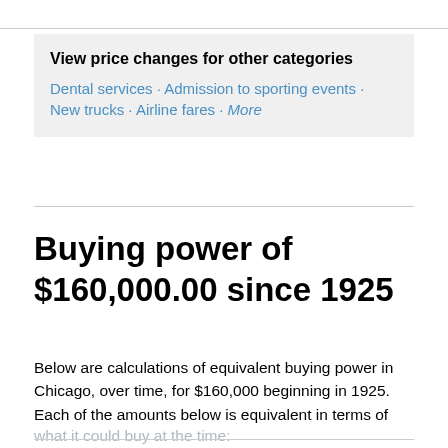View price changes for other categories
Dental services · Admission to sporting events · New trucks · Airline fares · More
Buying power of $160,000.00 since 1925
Below are calculations of equivalent buying power in Chicago, over time, for $160,000 beginning in 1925. Each of the amounts below is equivalent in terms of what it could buy at the time: